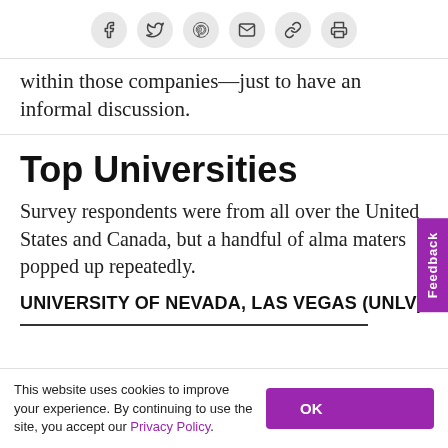[Social share icons: Facebook, Twitter, Pinterest, Email, Link, Print]
within those companies—just to have an informal discussion.
Top Universities
Survey respondents were from all over the United States and Canada, but a handful of alma maters popped up repeatedly.
UNIVERSITY OF NEVADA, LAS VEGAS (UNLV)
This website uses cookies to improve your experience. By continuing to use the site, you accept our Privacy Policy.